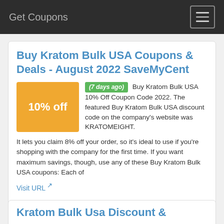Get Coupons
Buy Kratom Bulk USA Coupons & Deals - August 2022 SaveMyCent
[Figure (infographic): Orange coupon badge showing 10% off]
(7 days ago) Buy Kratom Bulk USA 10% Off Coupon Code 2022. The featured Buy Kratom Bulk USA discount code on the company's website was KRATOMEIGHT. It lets you claim 8% off your order, so it's ideal to use if you're shopping with the company for the first time. If you want maximum savings, though, use any of these Buy Kratom Bulk USA coupons: Each of
Visit URL
Category:  coupon codes
Show All Coupons
Kratom Bulk Usa Discount &